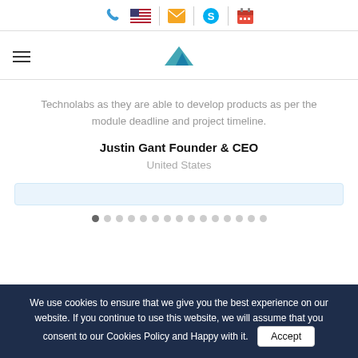Phone | Email | Skype | Calendar icons navigation bar
[Figure (logo): Dark blue mountain/arrow logo centered in navigation bar]
Technolabs as they are able to develop products as per the module deadline and project timeline.
Justin Gant Founder & CEO
United States
We use cookies to ensure that we give you the best experience on our website. If you continue to use this website, we will assume that you consent to our Cookies Policy and Happy with it.